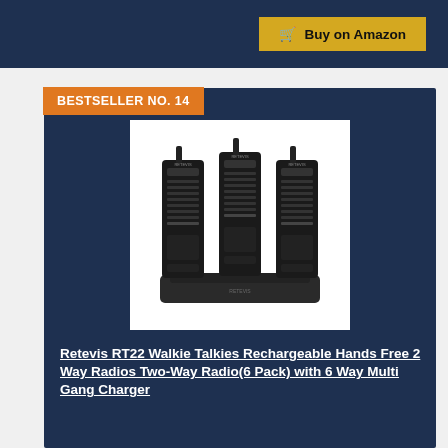[Figure (other): Buy on Amazon button with shopping cart icon on dark navy background]
BESTSELLER NO. 14
[Figure (photo): Six Retevis RT22 walkie talkies in black sitting in a 6-way multi gang charger dock]
Retevis RT22 Walkie Talkies Rechargeable Hands Free 2 Way Radios Two-Way Radio(6 Pack) with 6 Way Multi Gang Charger
The FRS two way radio is extremely compact and slim for business user, featured with 16